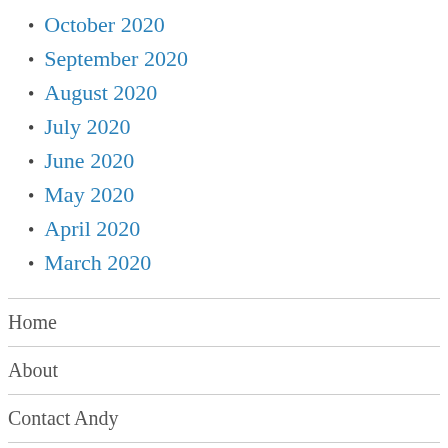October 2020
September 2020
August 2020
July 2020
June 2020
May 2020
April 2020
March 2020
Home
About
Contact Andy